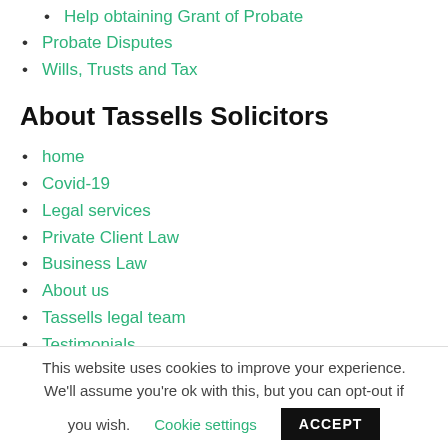Help obtaining Grant of Probate
Probate Disputes
Wills, Trusts and Tax
About Tassells Solicitors
home
Covid-19
Legal services
Private Client Law
Business Law
About us
Tassells legal team
Testimonials
This website uses cookies to improve your experience. We'll assume you're ok with this, but you can opt-out if you wish. Cookie settings ACCEPT